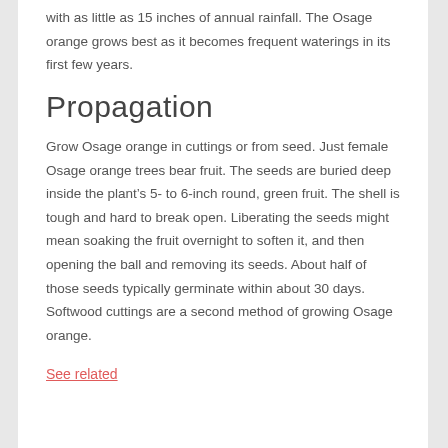with as little as 15 inches of annual rainfall. The Osage orange grows best as it becomes frequent waterings in its first few years.
Propagation
Grow Osage orange in cuttings or from seed. Just female Osage orange trees bear fruit. The seeds are buried deep inside the plant’s 5- to 6-inch round, green fruit. The shell is tough and hard to break open. Liberating the seeds might mean soaking the fruit overnight to soften it, and then opening the ball and removing its seeds. About half of those seeds typically germinate within about 30 days. Softwood cuttings are a second method of growing Osage orange.
See related